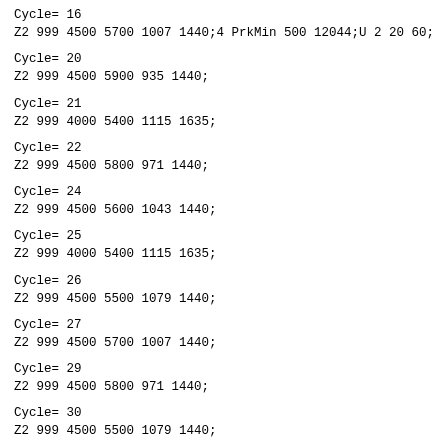Cycle=  16
Z2 999 4500 5700 1007 1440;4 PrkMin 500 12044;U 2 20 60;
Cycle=  20
Z2 999 4500 5900 935 1440;
Cycle=  21
Z2 999 4000 5400 1115 1635;
Cycle=  22
Z2 999 4500 5800 971 1440;
Cycle=  24
Z2 999 4500 5600 1043 1440;
Cycle=  25
Z2 999 4000 5400 1115 1635;
Cycle=  26
Z2 999 4500 5500 1079 1440;
Cycle=  27
Z2 999 4500 5700 1007 1440;
Cycle=  29
Z2 999 4500 5800 971 1440;
Cycle=  30
Z2 999 4500 5500 1079 1440;